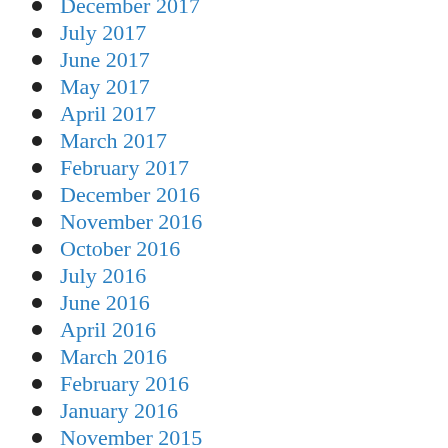December 2017
July 2017
June 2017
May 2017
April 2017
March 2017
February 2017
December 2016
November 2016
October 2016
July 2016
June 2016
April 2016
March 2016
February 2016
January 2016
November 2015